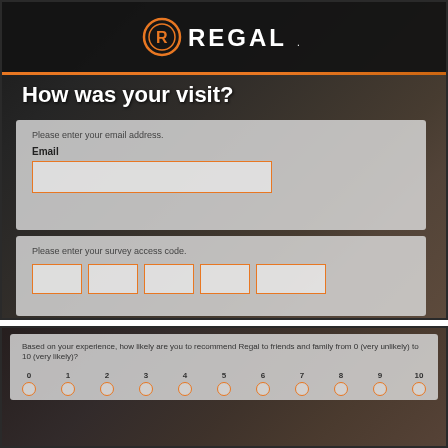[Figure (logo): Regal Cinemas logo with orange circular R emblem and white REGAL text]
How was your visit?
Please enter your email address.
Email
Please enter your survey access code.
Based on your experience, how likely are you to recommend Regal to friends and family from 0 (very unlikely) to 10 (very likely)?
0, 1, 2, 3, 4, 5, 6, 7, 8, 9, 10 rating scale